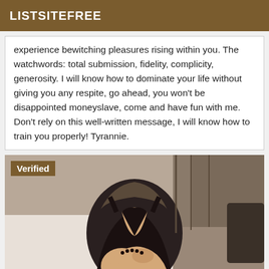LISTSITEFREE
experience bewitching pleasures rising within you. The watchwords: total submission, fidelity, complicity, generosity. I will know how to dominate your life without giving you any respite, go ahead, you won't be disappointed moneyslave, come and have fun with me. Don't rely on this well-written message, I will know how to train you properly! Tyrannie.
[Figure (photo): A woman in a black dress sitting on a bed, with a 'Verified' badge overlay in the top-left corner]